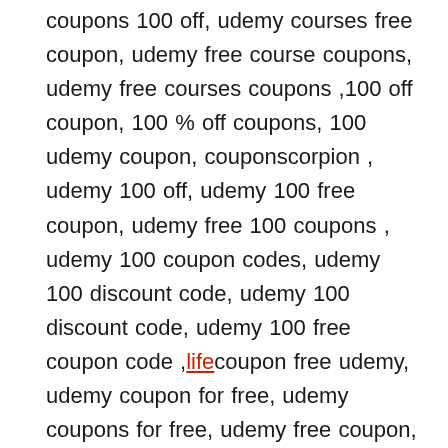coupons 100 off, udemy courses free coupon, udemy free course coupons, udemy free courses coupons ,100 off coupon, 100 % off coupons, 100 udemy coupon, couponscorpion , udemy 100 off, udemy 100 free coupon, udemy free 100 coupons , udemy 100 coupon codes, udemy 100 discount code, udemy 100 discount code, udemy 100 free coupon code ,lifecoupon free udemy, udemy coupon for free, udemy coupons for free, udemy free coupon, udemy free coupons , coupon scorpion, 100 off udemy coupons, free coupon code udemy , free coupon codes for udemy , free coupon for udemy course, free coupons for udemy courses, free course coupon udemy, free udemy course coupon, free udemy courses coupon, free udemy courses coupons, udemy 100 off coupon, udemy coupon 100 off, udemy coupons 100 off, udemy courses free coupon, udemy free